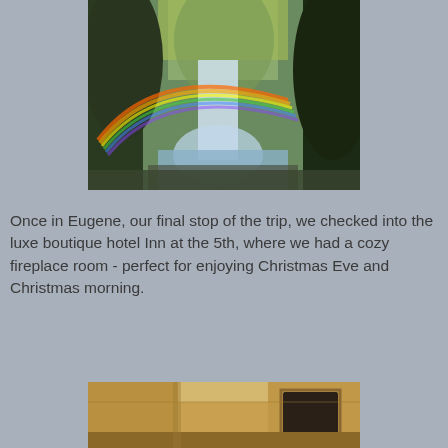[Figure (photo): A waterfall in a forest with a rainbow arching over it, surrounded by green and yellow conifer trees]
Once in Eugene, our final stop of the trip, we checked into the luxe boutique hotel Inn at the 5th, where we had a cozy fireplace room - perfect for enjoying Christmas Eve and Christmas morning.
[Figure (photo): Interior of a hotel room with warm yellow-toned walls and a doorway visible]